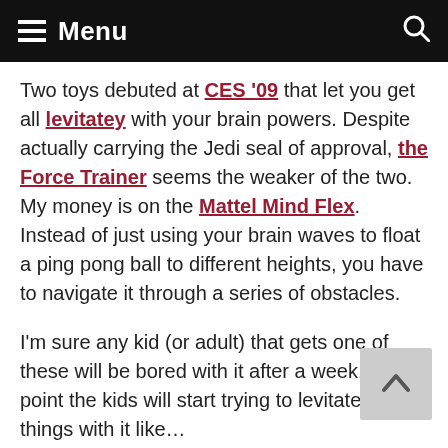Menu
Two toys debuted at CES '09 that let you get all levitatey with your brain powers. Despite actually carrying the Jedi seal of approval, the Force Trainer seems the weaker of the two. My money is on the Mattel Mind Flex. Instead of just using your brain waves to float a ping pong ball to different heights, you have to navigate it through a series of obstacles.
I'm sure any kid (or adult) that gets one of these will be bored with it after a week. At that point the kids will start trying to levitate other things with it like…